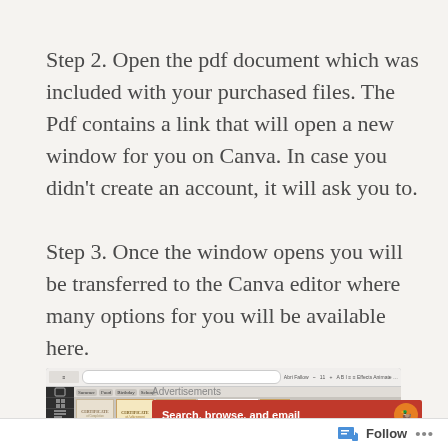Step 2. Open the pdf document which was included with your purchased files. The Pdf contains a link that will open a new window for you on Canva. In case you didn't create an account, it will ask you to.
Step 3. Once the window opens you will be transferred to the Canva editor where many options for you will be available here.
[Figure (screenshot): Screenshot of the Canva editor interface showing a toolbar at top with formatting options, a dark left sidebar with navigation icons, and a canvas area with template thumbnails including certificates and a newspaper layout. A Canva logo circle appears at bottom right along with a close (X) button.]
Advertisements
[Figure (screenshot): Red advertisement banner with white bold text reading 'Search, browse, and email' and a circular icon on the right side.]
Follow